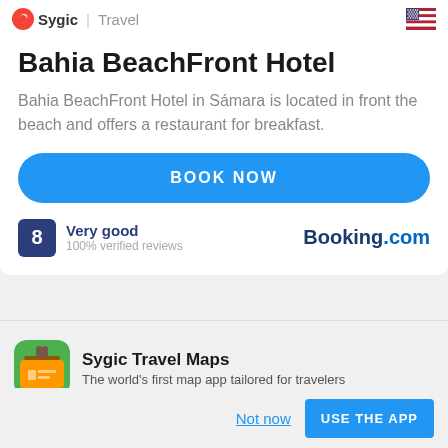Sygic | Travel
Bahia BeachFront Hotel
Bahia BeachFront Hotel in Sámara is located in front the beach and offers a restaurant for breakfast.
BOOK NOW
Very good
100% verified reviews
[Figure (logo): Booking.com logo]
Sygic Travel Maps
The world's first map app tailored for travelers
Not now
USE THE APP